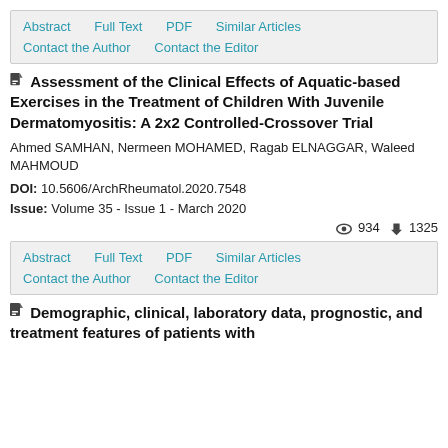Abstract | Full Text | PDF | Similar Articles | Contact the Author | Contact the Editor
Assessment of the Clinical Effects of Aquatic-based Exercises in the Treatment of Children With Juvenile Dermatomyositis: A 2x2 Controlled-Crossover Trial
Ahmed SAMHAN, Nermeen MOHAMED, Ragab ELNAGGAR, Waleed MAHMOUD
DOI: 10.5606/ArchRheumatol.2020.7548
Issue: Volume 35 - Issue 1 - March 2020
👁 934  ⬇ 1325
Abstract | Full Text | PDF | Similar Articles | Contact the Author | Contact the Editor
Demographic, clinical, laboratory data, prognostic, and treatment features of patients with